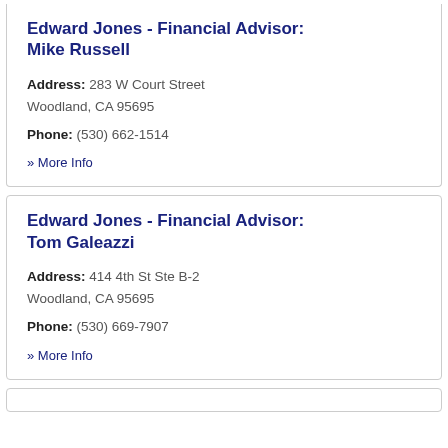Edward Jones - Financial Advisor: Mike Russell
Address: 283 W Court Street Woodland, CA 95695
Phone: (530) 662-1514
» More Info
Edward Jones - Financial Advisor: Tom Galeazzi
Address: 414 4th St Ste B-2 Woodland, CA 95695
Phone: (530) 669-7907
» More Info